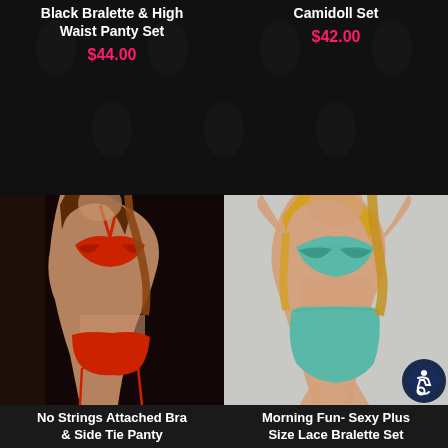Black Bralette & High Waist Panty Set
$44.00
Camidoll Set
$42.00
[Figure (photo): Model wearing red lace bra and side tie panty lingerie set]
[Figure (photo): Plus size model wearing teal/mint lace bralette and high waist panty set]
No Strings Attached Bra & Side Tie Panty
Morning Fun- Sexy Plus Size Lace Bralette Set